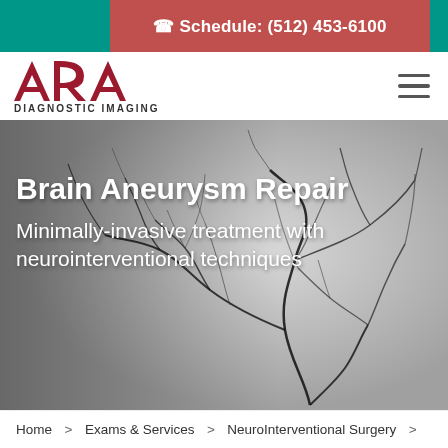Schedule: (512) 453-6100
[Figure (logo): ARA Diagnostic Imaging logo — red stylized ARA letters with tagline DIAGNOSTIC IMAGING]
[Figure (photo): Cerebral angiogram X-ray showing brain blood vessel network overlaid with white bold text: Brain Aneurysm Repair / Minimally-invasive treatment with neurointerventional techniques]
Brain Aneurysm Repair
Minimally-invasive treatment with neurointerventional techniques
Home  >  Exams & Services  >  NeuroInterventional Surgery  >